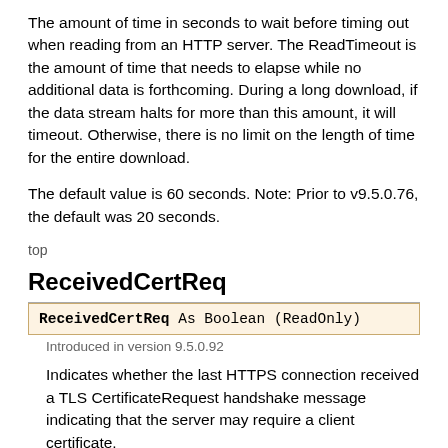The amount of time in seconds to wait before timing out when reading from an HTTP server. The ReadTimeout is the amount of time that needs to elapse while no additional data is forthcoming. During a long download, if the data stream halts for more than this amount, it will timeout. Otherwise, there is no limit on the length of time for the entire download.
The default value is 60 seconds. Note: Prior to v9.5.0.76, the default was 20 seconds.
top
ReceivedCertReq
ReceivedCertReq As Boolean (ReadOnly)
Introduced in version 9.5.0.92
Indicates whether the last HTTPS connection received a TLS CertificateRequest handshake message indicating that the server may require a client certificate.
top